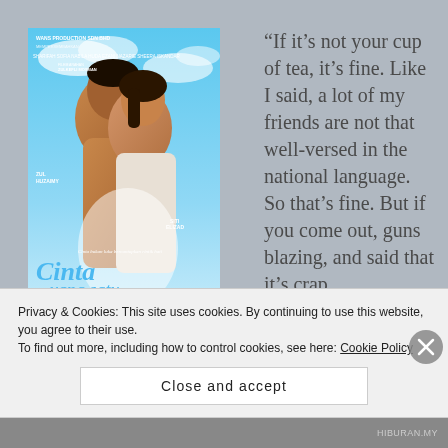[Figure (photo): Movie poster for 'Cinta yang satu' — a Malaysian film. Shows two people (ZUL HUZAIMY and SITI ELIZAD) in an embrace against a blue sky background. Credits include WANS PRODUCTION SDN BHD, SHARIFAH SOFIA, NABILA HUDA, EZANI NAZARIE, SHEERA ISKANDAR, ZUIKEFLI MOSMAN.]
“If it’s not your cup of tea, it’s fine. Like I said, a lot of my friends are not that well-versed in the national language. So that’s fine. But if you come out, guns blazing, and said that it’s crap,
Privacy & Cookies: This site uses cookies. By continuing to use this website, you agree to their use.
To find out more, including how to control cookies, see here: Cookie Policy
Close and accept